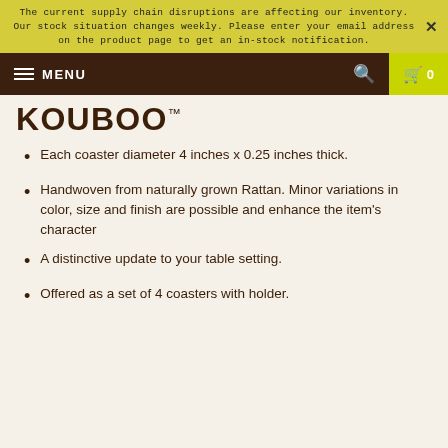The current supply chain disruptions are affecting our inventory. Our stock situation changes weekly. Please enter your email address on the product page to get an in-stock notification.
MENU
KOUBOO™
Each coaster diameter 4 inches x 0.25 inches thick.
Handwoven from naturally grown Rattan. Minor variations in color, size and finish are possible and enhance the item's character
A distinctive update to your table setting.
Offered as a set of 4 coasters with holder.